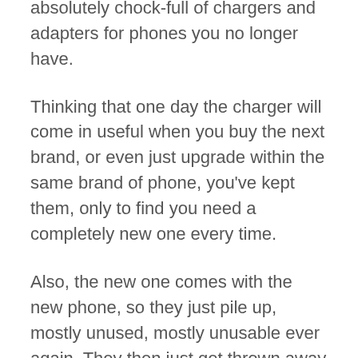have a drawer or even a large tub absolutely chock-full of chargers and adapters for phones you no longer have.
Thinking that one day the charger will come in useful when you buy the next brand, or even just upgrade within the same brand of phone, you've kept them, only to find you need a completely new one every time.
Also, the new one comes with the new phone, so they just pile up, mostly unused, mostly unusable ever again. They then just get thrown away to end up as electrical waste to (hopefully) be recycled, but maybe just put into landfill.
This situation cannot continue, and